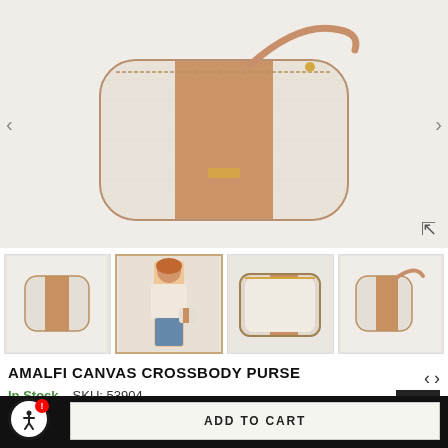[Figure (photo): Main product photo of the Amalfi Canvas Crossbody Purse — a small rectangular bag with cream/beige canvas panels and tan leather trim, gold hardware, shown on a light gray background with a crossbody strap.]
[Figure (photo): Thumbnail 1: Front view of the crossbody purse on white background, small.]
[Figure (photo): Thumbnail 2 (selected): Model wearing the crossbody purse over her shoulder, wearing a light pink top and jeans.]
[Figure (photo): Thumbnail 3: Top-down open view of the crossbody purse showing the interior, gold zipper visible.]
[Figure (photo): Thumbnail 4: Side/back view of the crossbody purse on white background.]
AMALFI CANVAS CROSSBODY PURSE
In Stock   SKU: 53904
ADD TO CART